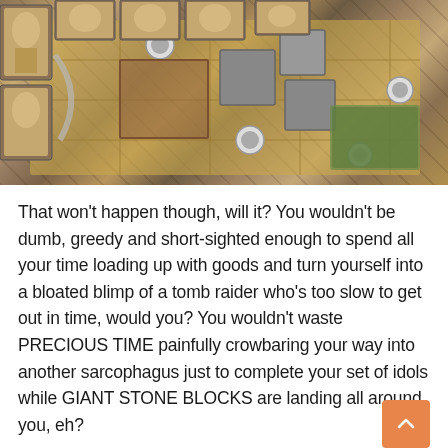[Figure (photo): Aerial/overhead view of a board game in progress showing miniatures, cards with Egyptian-style art (sarcophagi/canopic jars), stone block terrain pieces, and a game board with sandy/yellow and brown tiles.]
That won't happen though, will it? You wouldn't be dumb, greedy and short-sighted enough to spend all your time loading up with goods and turn yourself into a bloated blimp of a tomb raider who's too slow to get out in time, would you? You wouldn't waste PRECIOUS TIME painfully crowbaring your way into another sarcophagus just to complete your set of idols while GIANT STONE BLOCKS are landing all around you, eh?
Quinns:Yes! Yes. It all comes back to that WLL level. You can be not going to talk about fully familiar